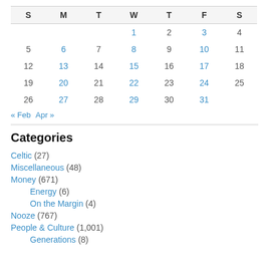| S | M | T | W | T | F | S |
| --- | --- | --- | --- | --- | --- | --- |
|  |  |  | 1 | 2 | 3 | 4 |
| 5 | 6 | 7 | 8 | 9 | 10 | 11 |
| 12 | 13 | 14 | 15 | 16 | 17 | 18 |
| 19 | 20 | 21 | 22 | 23 | 24 | 25 |
| 26 | 27 | 28 | 29 | 30 | 31 |  |
« Feb   Apr »
Categories
Celtic (27)
Miscellaneous (48)
Money (671)
Energy (6)
On the Margin (4)
Nooze (767)
People & Culture (1,001)
Generations (8)